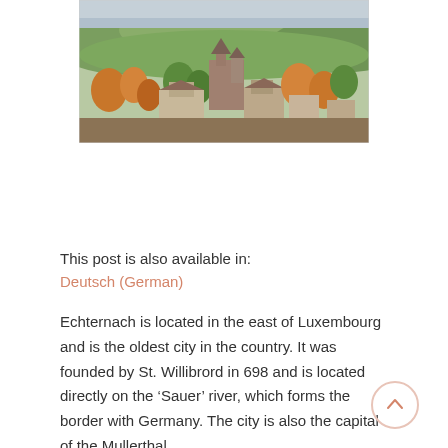[Figure (photo): Aerial/panoramic view of Echternach, Luxembourg, showing a historic city with a prominent cathedral/church, surrounded by trees in autumn colors and rolling green hills in the background.]
This post is also available in:
Deutsch (German)
Echternach is located in the east of Luxembourg and is the oldest city in the country. It was founded by St. Willibrord in 698 and is located directly on the ‘Sauer’ river, which forms the border with Germany. The city is also the capital of the Mullerthal